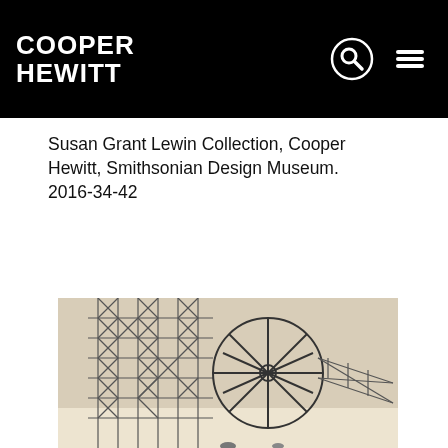COOPER HEWITT
Susan Grant Lewin Collection, Cooper Hewitt, Smithsonian Design Museum. 2016-34-42
[Figure (photo): Black and white or sepia-toned photograph of an industrial structure featuring steel lattice framework and a large circular wheel or gear element, possibly related to industrial design or engineering, from the Cooper Hewitt Smithsonian Design Museum collection.]